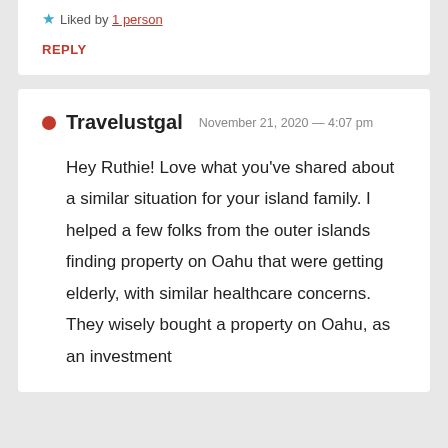★ Liked by 1 person
REPLY
Travelustgal  November 21, 2020 — 4:07 pm
Hey Ruthie! Love what you've shared about a similar situation for your island family. I helped a few folks from the outer islands finding property on Oahu that were getting elderly, with similar healthcare concerns. They wisely bought a property on Oahu, as an investment